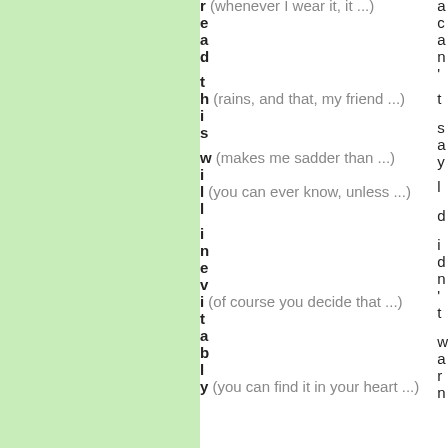r (whenever I wear it, it ...)
e
a
d

t
h (rains, and that, my friend ...)
i
s

w (makes me sadder than ...)
i
l (you can ever know, unless ...)
l

i
n
e
v
i (of course you decide that ...)
t
a
b
l
y (you can find it in your heart ...)
a
c
a
n
,
t

s
a
y

l

d
i
d
n
'
t
w
a
r
n